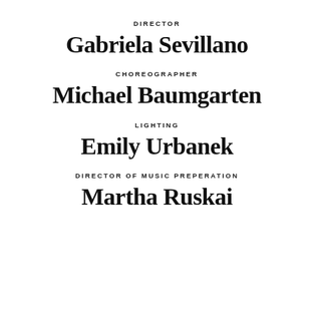DIRECTOR
Gabriela Sevillano
CHOREOGRAPHER
Michael Baumgarten
LIGHTING
Emily Urbanek
DIRECTOR OF MUSIC PREPERATION
Martha Ruskai